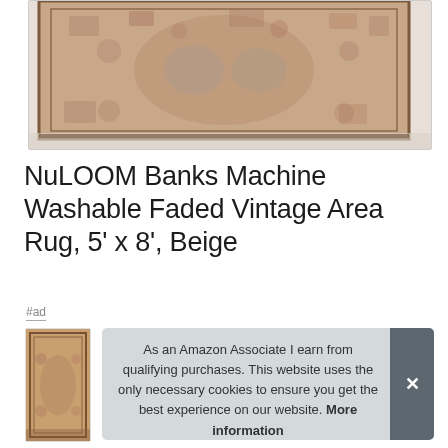[Figure (photo): A close-up photo of a NuLOOM Banks Machine Washable Faded Vintage Area Rug in Beige, showing the ornate patterned textile with muted rust, grey, and beige tones on a light floor surface.]
NuLOOM Banks Machine Washable Faded Vintage Area Rug, 5' x 8', Beige
#ad
[Figure (photo): Thumbnail image of the same NuLOOM beige area rug, partially visible on the left side.]
As an Amazon Associate I earn from qualifying purchases. This website uses the only necessary cookies to ensure you get the best experience on our website. More information